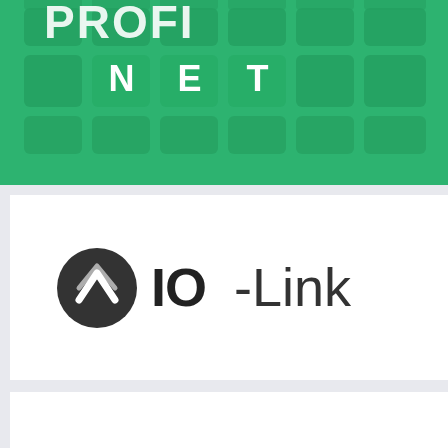[Figure (logo): PROFINET green logo with grid/key pattern and 'NET' text on green background]
[Figure (logo): IO-Link logo: circular icon with checkmark/arrow symbol followed by bold 'IO-Link' text]
[Figure (logo): omlox logo: stylized 'N' slash icon followed by 'omlox' text in bold, with a teal square scroll-to-top button]